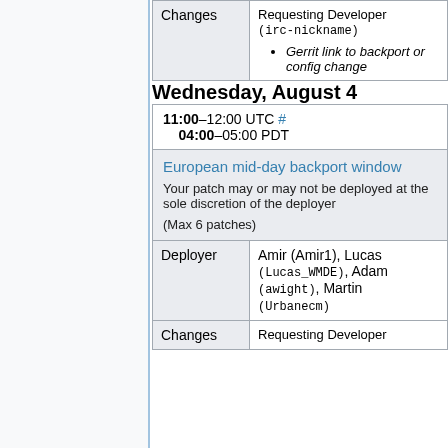|  |  |
| --- | --- |
| Changes | Requesting Developer (irc-nickname)
• Gerrit link to backport or config change |
Wednesday, August 4
| 11:00–12:00 UTC # 04:00–05:00 PDT |  |
| European mid-day backport window
Your patch may or may not be deployed at the sole discretion of the deployer
(Max 6 patches) |  |
| Deployer | Amir (Amir1), Lucas (Lucas_WMDE), Adam (awight), Martin (Urbanecm) |
| Changes | Requesting Developer |